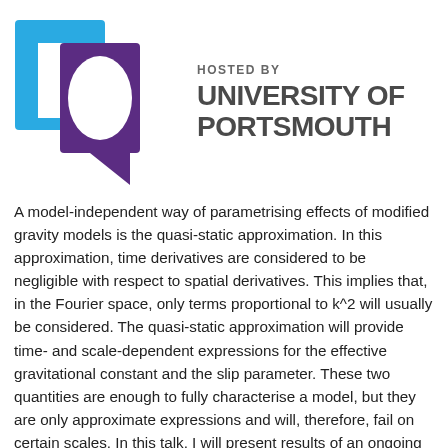[Figure (logo): University of Portsmouth logo with blue and purple geometric shapes and text 'HOSTED BY UNIVERSITY OF PORTSMOUTH']
A model-independent way of parametrising effects of modified gravity models is the quasi-static approximation. In this approximation, time derivatives are considered to be negligible with respect to spatial derivatives. This implies that, in the Fourier space, only terms proportional to k^2 will usually be considered. The quasi-static approximation will provide time- and scale-dependent expressions for the effective gravitational constant and the slip parameter. These two quantities are enough to fully characterise a model, but they are only approximate expressions and will, therefore, fail on certain scales. In this talk, I will present results of an ongoing study about the goodness of different flavours of the quasi-static approximation in reproducing